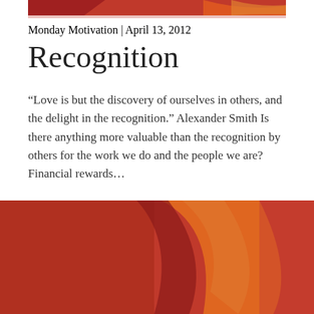[Figure (illustration): Top decorative banner with red and orange abstract swoosh shapes on white background]
Monday Motivation | April 13, 2012
Recognition
“Love is but the discovery of ourselves in others, and the delight in the recognition.” Alexander Smith Is there anything more valuable than the recognition by others for the work we do and the people we are? Financial rewards…
Read →
[Figure (illustration): Large red decorative image with abstract orange and dark red swoosh/flame shapes on a red background]